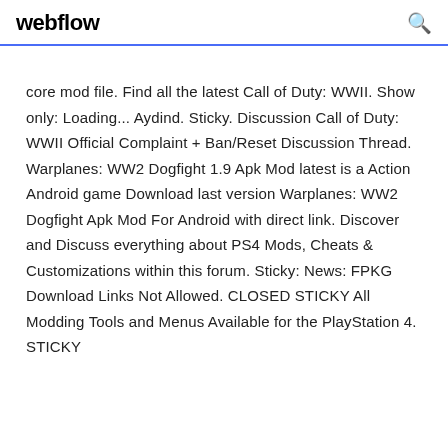webflow
core mod file. Find all the latest Call of Duty: WWII. Show only: Loading... Aydind. Sticky. Discussion Call of Duty: WWII Official Complaint + Ban/Reset Discussion Thread. Warplanes: WW2 Dogfight 1.9 Apk Mod latest is a Action Android game Download last version Warplanes: WW2 Dogfight Apk Mod For Android with direct link. Discover and Discuss everything about PS4 Mods, Cheats & Customizations within this forum. Sticky: News: FPKG Download Links Not Allowed. CLOSED STICKY All Modding Tools and Menus Available for the PlayStation 4. STICKY